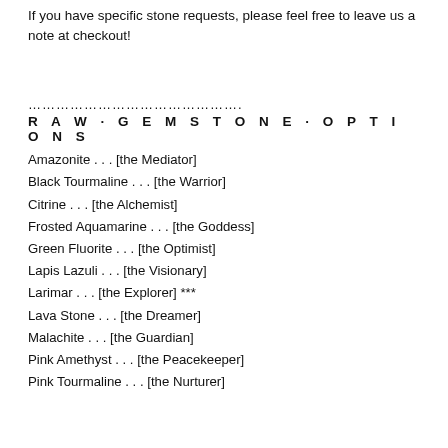If you have specific stone requests, please feel free to leave us a note at checkout!
…………………………………….
R A W · G E M S T O N E · O P T I O N S
Amazonite . . . [the Mediator]
Black Tourmaline . . . [the Warrior]
Citrine . . . [the Alchemist]
Frosted Aquamarine . . . [the Goddess]
Green Fluorite . . . [the Optimist]
Lapis Lazuli . . . [the Visionary]
Larimar . . . [the Explorer] ***
Lava Stone . . . [the Dreamer]
Malachite . . . [the Guardian]
Pink Amethyst . . . [the Peacekeeper]
Pink Tourmaline . . . [the Nurturer]